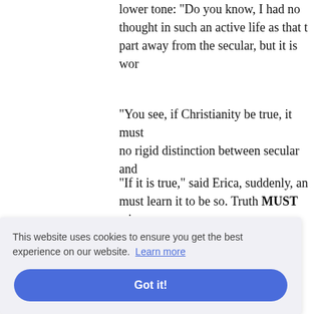lower tone: "Do you know, I had no thought in such an active life as that the part away from the secular, but it is wor
"You see, if Christianity be true, it must no rigid distinction between secular and
"If it is true," said Erica, suddenly, an must learn it to be so. Truth MUST win than for books at the museum," she adde
Charles Osmond walked home thoughtf
"Absolute conviction that truth must ous faith than ake you f
who will
rles Osm man; you've just got to leave it to your b
[Figure (screenshot): Cookie consent banner overlay with text 'This website uses cookies to ensure you get the best experience on our website. Learn more' and a blue 'Got it!' button.]